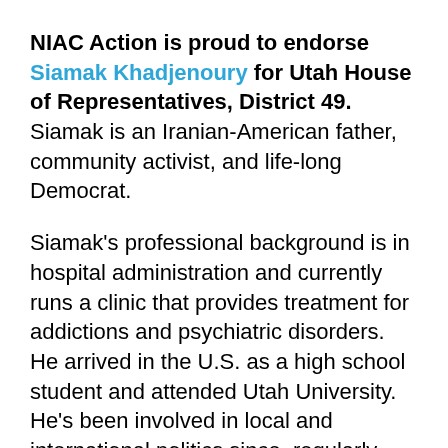NIAC Action is proud to endorse Siamak Khadjenoury for Utah House of Representatives, District 49. Siamak is an Iranian-American father, community activist, and life-long Democrat.
Siamak's professional background is in hospital administration and currently runs a clinic that provides treatment for addictions and psychiatric disorders. He arrived in the U.S. as a high school student and attended Utah University. He's been involved in local and international politics since, regularly working with state capitol members on health care policy and services on several boards. His decision to run for the Utah House of Representatives was mainly influenced by party leaders and party chairs, who encouraged and